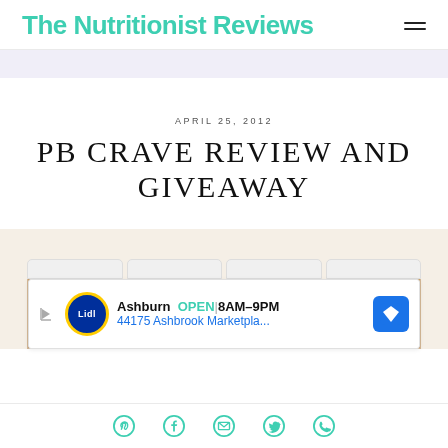The Nutritionist Reviews
PB CRAVE REVIEW AND GIVEAWAY
APRIL 25, 2012
[Figure (photo): Four jars of PB Crave peanut butter lined up side by side with white lids, with an advertisement overlay for Lidl in Ashburn showing OPEN 8AM-9PM and address 44175 Ashbrook Marketpla...]
Pinterest, Facebook, Email, Twitter, WhatsApp social share icons